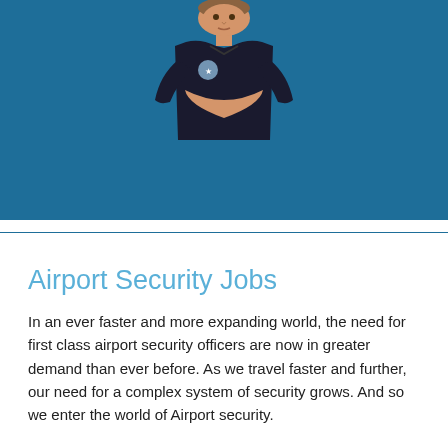[Figure (photo): A security officer in a dark uniform with a badge, arms crossed, photographed against a blue background banner at the top of the page.]
Airport Security Jobs
In an ever faster and more expanding world, the need for first class airport security officers are now in greater demand than ever before. As we travel faster and further, our need for a complex system of security grows. And so we enter the world of Airport security.
On the one hand, man-made security equipment is increasingly more adapted to an increasingly more